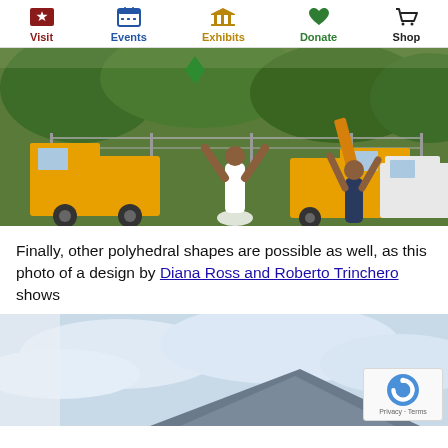Visit | Events | Exhibits | Donate | Shop
[Figure (photo): Two people reaching up with arms raised in a park area, with a yellow truck and chain-link fence in background, and a green triangular kite or shape visible at top]
Finally, other polyhedral shapes are possible as well, as this photo of a design by Diana Ross and Roberto Trinchero shows
[Figure (photo): Partial view of a polyhedral structure or kite against a blue-white sky, with a reCAPTCHA badge in lower right corner showing Privacy and Terms links]